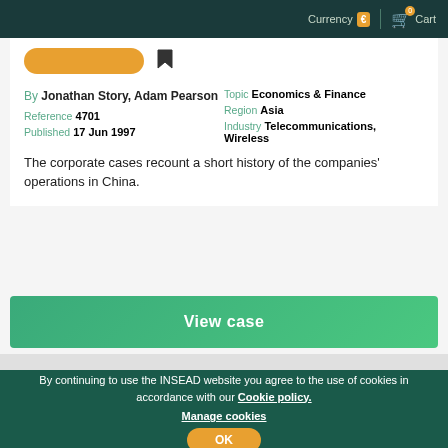Currency € | 0 Cart
By Jonathan Story, Adam Pearson
Reference 4701
Published 17 Jun 1997
Topic Economics & Finance
Region Asia
Industry Telecommunications, Wireless
The corporate cases recount a short history of the companies' operations in China.
View case
By continuing to use the INSEAD website you agree to the use of cookies in accordance with our Cookie policy. Manage cookies
OK